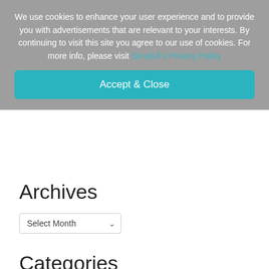We use cookies to enhance your user experience and to provide you with advertisements that are relevant to your interests. By continuing to visit this site you agree to our use of cookies. For more info, please visit Simpli.fi's Privacy Policy
Accept & Close
Archives
Select Month
Categories
ADDRESSABLE
CASE STUDIES
CULTURE
DATA
DISPLAY